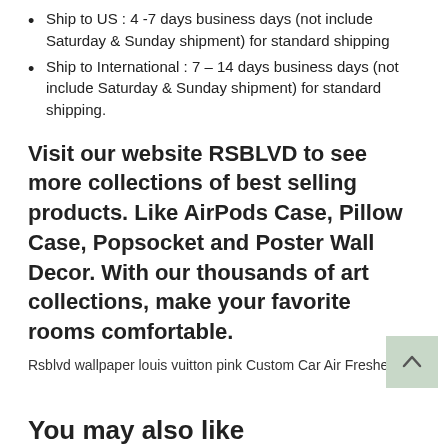Ship to US : 4 -7 days business days (not include Saturday & Sunday shipment) for standard shipping
Ship to International : 7 – 14 days business days (not include Saturday & Sunday shipment) for standard shipping.
Visit our website RSBLVD to see more collections of best selling products. Like AirPods Case, Pillow Case, Popsocket and Poster Wall Decor. With our thousands of art collections, make your favorite rooms comfortable.
Rsblvd wallpaper louis vuitton pink Custom Car Air Fresheners
You may also like